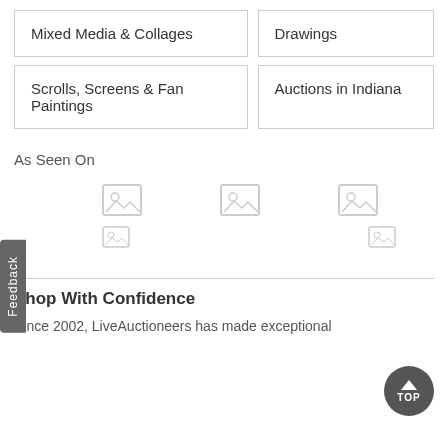Mixed Media & Collages
Drawings
Scrolls, Screens & Fan Paintings
Auctions in Indiana
As Seen On
[Figure (other): Five image placeholder icons arranged in two rows representing media logos]
Shop With Confidence
Since 2002, LiveAuctioneers has made exceptional